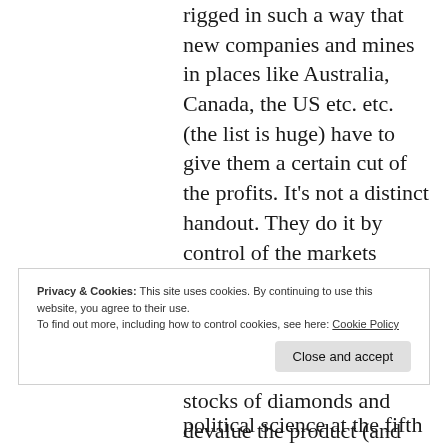rigged in such a way that new companies and mines in places like Australia, Canada, the US etc. etc. (the list is huge) have to give them a certain cut of the profits. It's not a distinct handout. They do it by control of the markets through which the diamonds are sold. They also threaten to flood the market with their massive stocks of diamonds and devalue the product (and they have done so in the past
Privacy & Cookies: This site uses cookies. By continuing to use this website, you agree to their use.
To find out more, including how to control cookies, see here: Cookie Policy
political science at the fifth top